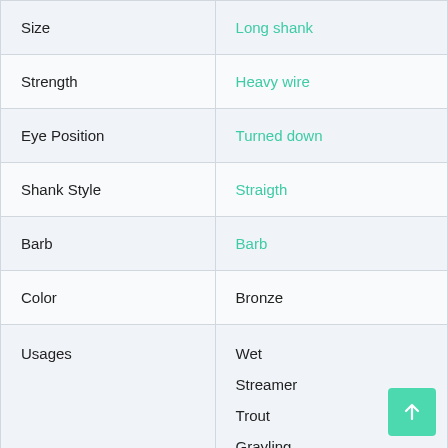|  |  |
| --- | --- |
| Size | Long shank |
| Strength | Heavy wire |
| Eye Position | Turned down |
| Shank Style | Straigth |
| Barb | Barb |
| Color | Bronze |
| Usages | Wet
Streamer
Trout
Grayling |